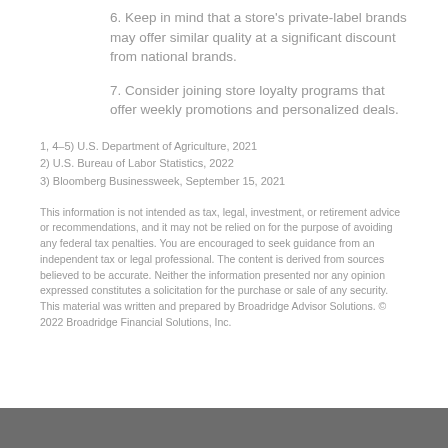6. Keep in mind that a store's private-label brands may offer similar quality at a significant discount from national brands.
7. Consider joining store loyalty programs that offer weekly promotions and personalized deals.
1, 4–5) U.S. Department of Agriculture, 2021
2) U.S. Bureau of Labor Statistics, 2022
3) Bloomberg Businessweek, September 15, 2021
This information is not intended as tax, legal, investment, or retirement advice or recommendations, and it may not be relied on for the purpose of avoiding any federal tax penalties. You are encouraged to seek guidance from an independent tax or legal professional. The content is derived from sources believed to be accurate. Neither the information presented nor any opinion expressed constitutes a solicitation for the purchase or sale of any security. This material was written and prepared by Broadridge Advisor Solutions. © 2022 Broadridge Financial Solutions, Inc.